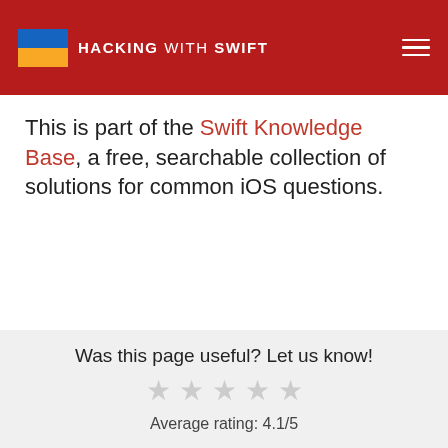HACKING WITH SWIFT
This is part of the Swift Knowledge Base, a free, searchable collection of solutions for common iOS questions.
Was this page useful? Let us know!
★ ★ ★ ★ ★
Average rating: 4.1/5